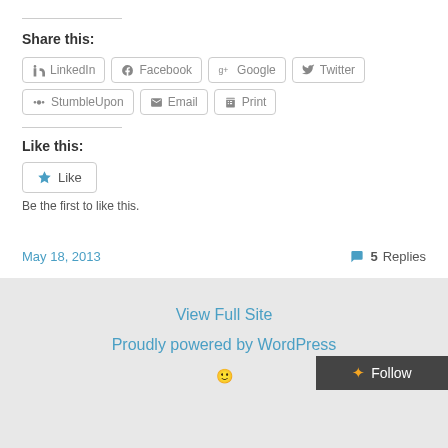Share this:
LinkedIn
Facebook
Google+
Twitter
StumbleUpon
Email
Print
Like this:
Be the first to like this.
May 18, 2013
5 Replies
View Full Site
Proudly powered by WordPress
Follow